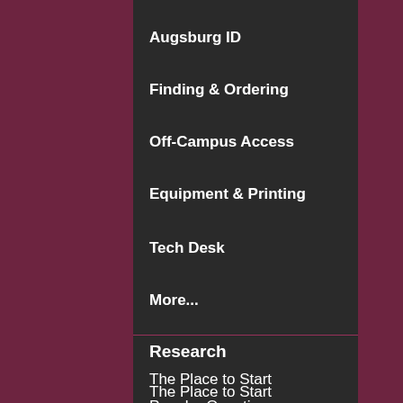Augsburg ID
Finding & Ordering
Off-Campus Access
Equipment & Printing
Tech Desk
More...
Research
The Place to Start
Popular Questions
Study Rooms